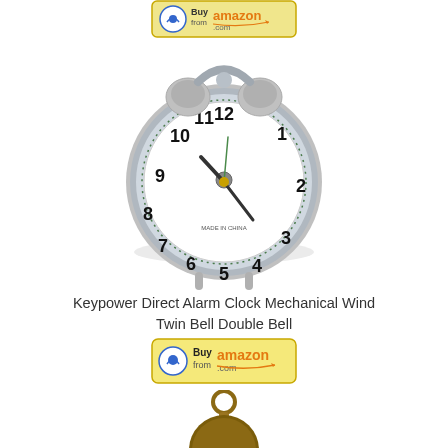[Figure (other): Amazon Buy from amazon.com button (partial, top of page)]
[Figure (photo): Silver twin bell mechanical alarm clock with white face showing numbers 1-12, MADE IN CHINA text on face, gold center knob, chrome body with two bells on top]
Keypower Direct Alarm Clock Mechanical Wind Twin Bell Double Bell
[Figure (other): Amazon Buy from amazon.com button]
[Figure (photo): Bronze/copper pocket watch top portion showing ring and crown, partially visible at bottom of page]